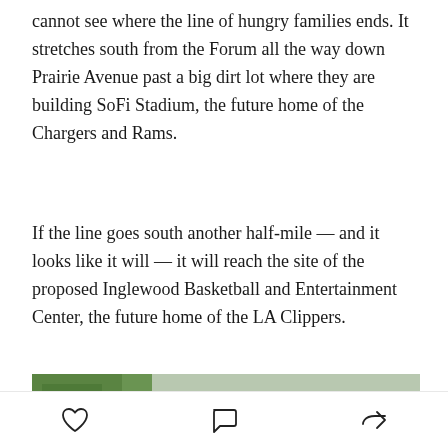cannot see where the line of hungry families ends. It stretches south from the Forum all the way down Prairie Avenue past a big dirt lot where they are building SoFi Stadium, the future home of the Chargers and Rams.
If the line goes south another half-mile — and it looks like it will — it will reach the site of the proposed Inglewood Basketball and Entertainment Center, the future home of the LA Clippers.
[Figure (photo): Aerial view of a long line of cars stretching down a wide road near a large arena (the Forum), with trees visible on the left side and the curved facade of the Forum on the right.]
Heart icon, Comment icon, Share icon